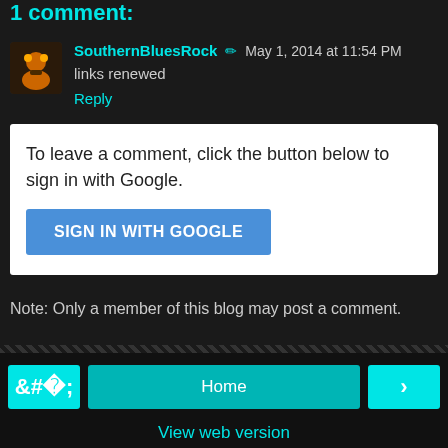1 comment:
SouthernBluesRock ✏ May 1, 2014 at 11:54 PM
links renewed
Reply
To leave a comment, click the button below to sign in with Google.
SIGN IN WITH GOOGLE
Note: Only a member of this blog may post a comment.
Home | View web version | Powered by Blogger.